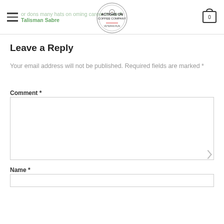Actions On Coffee Company – or dons many hats on … coming career in the … Talisman Sabre
Leave a Reply
Your email address will not be published. Required fields are marked *
Comment *
Name *